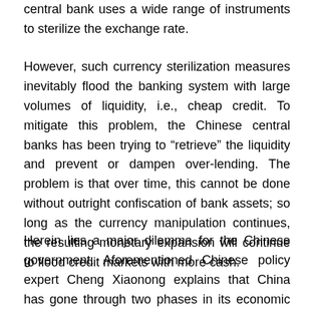central bank uses a wide range of instruments to sterilize the exchange rate.
However, such currency sterilization measures inevitably flood the banking system with large volumes of liquidity, i.e., cheap credit. To mitigate this problem, the Chinese central banks has been trying to “retrieve” the liquidity and prevent or dampen over-lending. The problem is that over time, this cannot be done without outright confiscation of bank assets; so long as the currency manipulation continues, the resulting monetary expansion will continue to flood credit markets with more cash.
Herein lies a major dilemma for the Chinese government. Aforementioned Chinese policy expert Cheng Xiaonong explains that China has gone through two phases in its economic evolution, the first being led by an exports